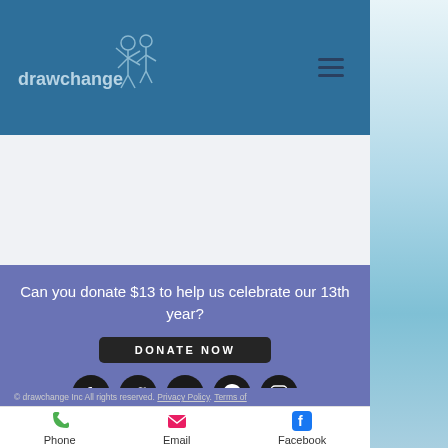drawchange
[Figure (screenshot): Drawchange website mobile screenshot showing header with logo, purple donation section with donate button, social media icons (Facebook, Twitter, YouTube, Pinterest, Instagram), copyright footer, and bottom navigation bar with Phone, Email, Facebook links]
Can you donate $13 to help us celebrate our 13th year?
DONATE NOW
© drawchange Inc All rights reserved. Privacy Policy. Terms of
Phone   Email   Facebook